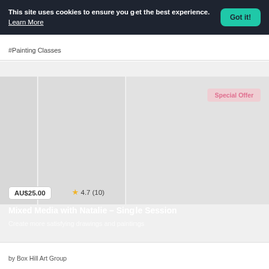This site uses cookies to ensure you get the best experience. Learn More  Got it!
#Painting Classes
[Figure (screenshot): Product listing card with a faded image placeholder showing painting/art class imagery, a Special Offer badge, price AU$25.00, rating 4.7 (10 reviews), title Mixed Media with Natalie – Single Session, subtitle Create more satisfying drawings and paintings.]
AU$25.00
4.7 (10)
Mixed Media with Natalie – Single Session
Create more satisfying drawings and paintings
by Box Hill Art Group